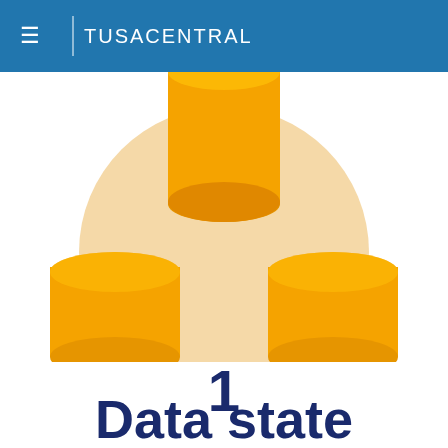≡  TUSACENTRAL
[Figure (illustration): Three orange 3D cylinders arranged around a large light peach/beige circle. One cylinder is centered at the top (partially cut off), one is on the lower-left, and one is on the lower-right. The large circle sits in the middle-lower area connecting all three cylinders.]
1
Data state